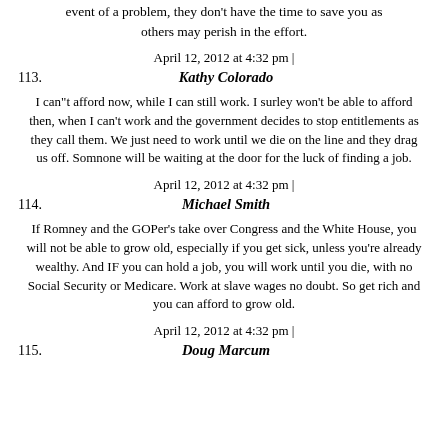event of a problem, they don't have the time to save you as others may perish in the effort.
April 12, 2012 at 4:32 pm |
113. Kathy Colorado
I can"t afford now, while I can still work. I surley won't be able to afford then, when I can't work and the government decides to stop entitlements as they call them. We just need to work until we die on the line and they drag us off. Somnone will be waiting at the door for the luck of finding a job.
April 12, 2012 at 4:32 pm |
114. Michael Smith
If Romney and the GOPer's take over Congress and the White House, you will not be able to grow old, especially if you get sick, unless you're already wealthy. And IF you can hold a job, you will work until you die, with no Social Security or Medicare. Work at slave wages no doubt. So get rich and you can afford to grow old.
April 12, 2012 at 4:32 pm |
115. Doug Marcum